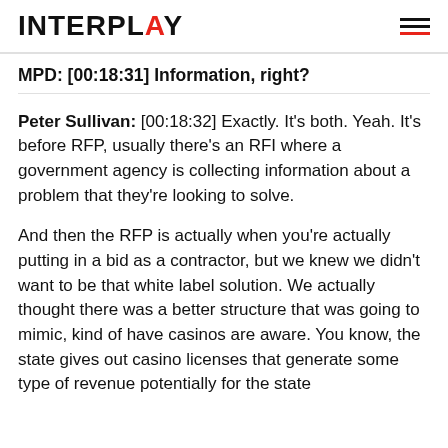INTERPLAY
MPD: [00:18:31] Information, right?
Peter Sullivan: [00:18:32] Exactly. It’s both. Yeah. It’s before RFP, usually there’s an RFI where a government agency is collecting information about a problem that they’re looking to solve.
And then the RFP is actually when you’re actually putting in a bid as a contractor, but we knew we didn’t want to be that white label solution. We actually thought there was a better structure that was going to mimic, kind of have casinos are aware. You know, the state gives out casino licenses that generate some type of revenue potentially for the state